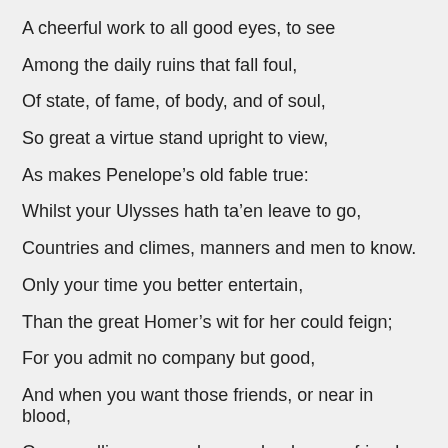A cheerful work to all good eyes, to see
Among the daily ruins that fall foul,
Of state, of fame, of body, and of soul,
So great a virtue stand upright to view,
As makes Penelope’s old fable true:
Whilst your Ulysses hath ta’en leave to go,
Countries and climes, manners and men to know.
Only your time you better entertain,
Than the great Homer’s wit for her could feign;
For you admit no company but good,
And when you want those friends, or near in blood,
Or your allies, you make your books your friends,